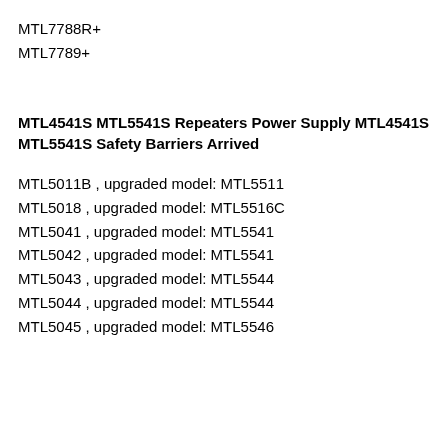MTL7788R+
MTL7789+
MTL4541S MTL5541S Repeaters Power Supply MTL4541S MTL5541S Safety Barriers Arrived
MTL5011B , upgraded model: MTL5511
MTL5018 , upgraded model: MTL5516C
MTL5041 , upgraded model: MTL5541
MTL5042 , upgraded model: MTL5541
MTL5043 , upgraded model: MTL5544
MTL5044 , upgraded model: MTL5544
MTL5045 , upgraded model: MTL5546